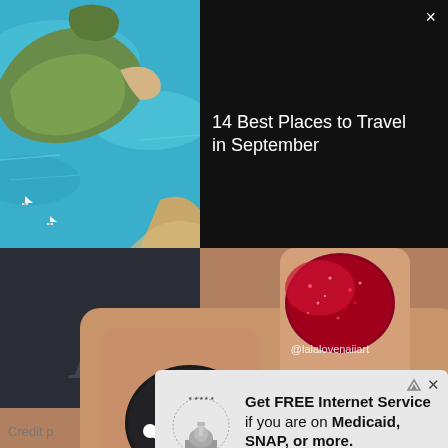[Figure (photo): Aerial view of turquoise coastal waters with small islands, sandy beaches, and sailboats]
×
14 Best Places to Travel in September
[Figure (photo): Close-up photo of nail art: one nail with red glitter polish, one with black matte and white skull-and-crossbones design. Username @lalalovenaiiart visible.]
[Figure (infographic): Advertisement banner: Federal Benefits Program logo (Capitol building with stars). Text: Get FREE Internet Service if you are on Medicaid, SNAP, or more. Green CTA button: Get It Now. Must qualify.]
Credit p